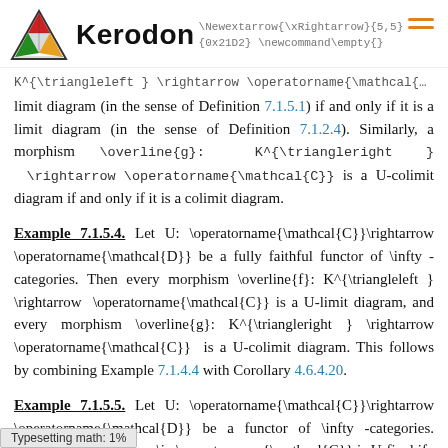Kerodon | \Newextarrow{\xRightarrow}{5,5} {0x21D2} \newcommand\empty{}
K^{\triangleleft } \rightarrow \operatorname{\mathcal{C}} is a U-limit diagram (in the sense of Definition 7.1.5.1) if and only if it is a limit diagram (in the sense of Definition 7.1.2.4). Similarly, a morphism \overline{g}: K^{\triangleright } \rightarrow \operatorname{\mathcal{C}} is a U-colimit diagram if and only if it is a colimit diagram.
Example 7.1.5.4. Let U: \operatorname{\mathcal{C}}\rightarrow \operatorname{\mathcal{D}} be a fully faithful functor of \infty -categories. Then every morphism \overline{f}: K^{\triangleleft } \rightarrow \operatorname{\mathcal{C}} is a U-limit diagram, and every morphism \overline{g}: K^{\triangleright } \rightarrow \operatorname{\mathcal{C}} is a U-colimit diagram. This follows by combining Example 7.1.4.4 with Corollary 4.6.4.20.
Example 7.1.5.5. Let U: \operatorname{\mathcal{C}}\rightarrow \operatorname{\mathcal{D}} be a functor of \infty -categories. \in \operatorname{\mathcal{C}} is U-final if
Typesetting math: 1%